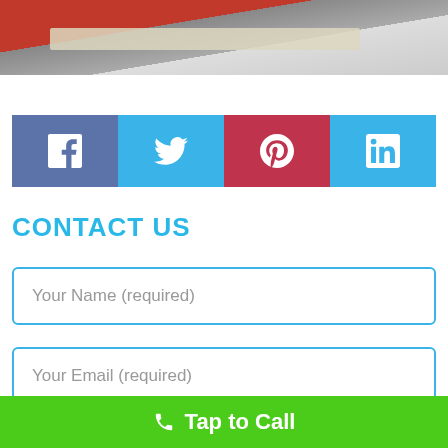[Figure (photo): Photo strip showing car and person, with a light-colored overlay bar across the middle]
[Figure (infographic): Social media sharing buttons: Facebook (blue-purple), Twitter (light blue), Pinterest (red), LinkedIn (light blue)]
CONTACT US
Your Name (required)
Your Email (required)
Tap to Call